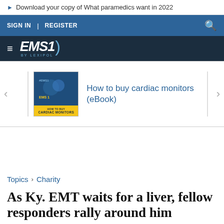Download your copy of What paramedics want in 2022
SIGN IN | REGISTER
[Figure (logo): EMS1 by Lexipol logo on dark navy background with hamburger menu icon]
[Figure (screenshot): Promotional card: How to Buy Cardiac Monitors eBook thumbnail with blue and yellow cover, link text: How to buy cardiac monitors (eBook)]
Topics > Charity
As Ky. EMT waits for a liver, fellow responders rally around him